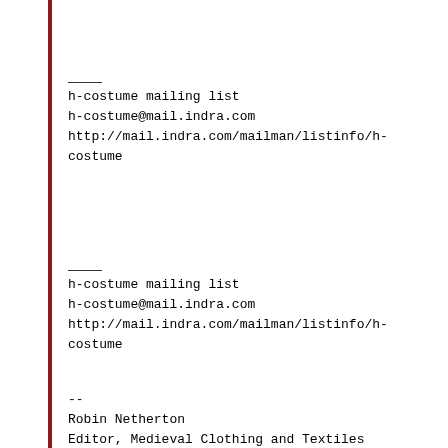——
h-costume mailing list
h-costume@mail.indra.com
http://mail.indra.com/mailman/listinfo/h-costume
——
h-costume mailing list
h-costume@mail.indra.com
http://mail.indra.com/mailman/listinfo/h-costume
--
Robin Netherton
Editor, Medieval Clothing and Textiles
ro...@netherton.net